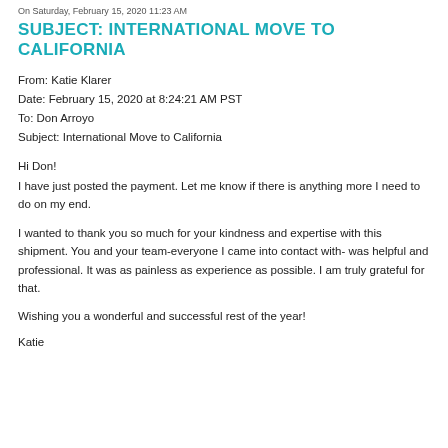On Saturday, February 15, 2020 11:23 AM
SUBJECT: INTERNATIONAL MOVE TO CALIFORNIA
From: Katie Klarer
Date: February 15, 2020 at 8:24:21 AM PST
To: Don Arroyo
Subject: International Move to California
Hi Don!
I have just posted the payment. Let me know if there is anything more I need to do on my end.
I wanted to thank you so much for your kindness and expertise with this shipment. You and your team-everyone I came into contact with- was helpful and professional. It was as painless as experience as possible. I am truly grateful for that.
Wishing you a wonderful and successful rest of the year!
Katie